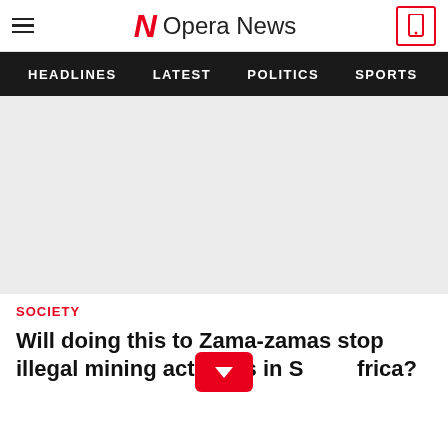Opera News
HEADLINES  LATEST  POLITICS  SPORTS  B
[Figure (photo): Large light gray placeholder image area below navigation bar]
SOCIETY
Will doing this to Zama-zamas stop illegal mining activities in South Africa?